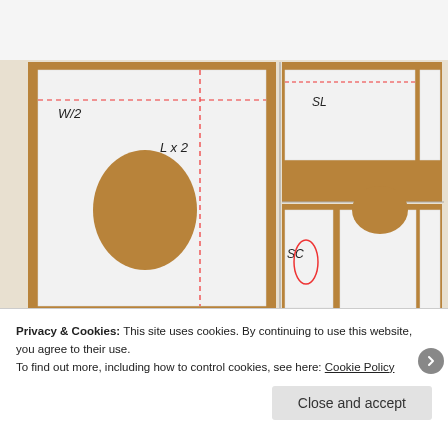[Figure (photo): Photo of fabric pattern pieces laid out on a wooden table. Left panel shows a large white piece labeled 'W/2' and 'L x 2' with a circular hole cutout and red dashed guide lines. Right panel (top) shows a smaller rectangular piece labeled 'SL'. Right panel (bottom) shows a piece labeled 'SC' with a red oval outline and a curved neckline cutout.]
Privacy & Cookies: This site uses cookies. By continuing to use this website, you agree to their use.
To find out more, including how to control cookies, see here: Cookie Policy
Close and accept